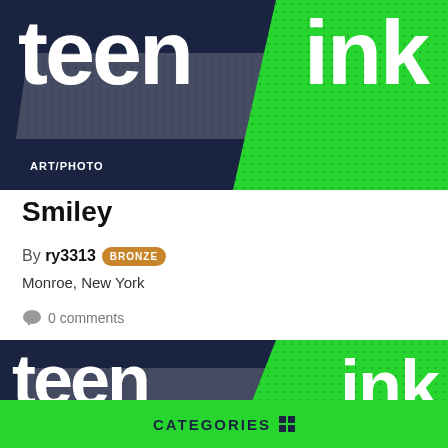[Figure (illustration): Teen Ink magazine logo banner with dark navy and bright green design, 'teen' and 'ink' text in white, ART/PHOTO badge at bottom left]
Smiley
By ry3313 BRONZE
Monroe, New York
0 comments
[Figure (illustration): Second Teen Ink magazine logo banner with dark navy and bright green design, 'teen' and 'ink' text in white]
CATEGORIES